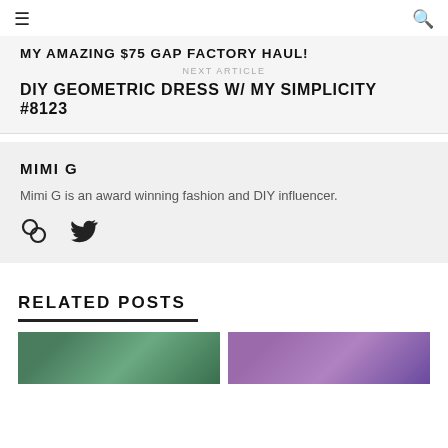☰ [hamburger menu] [search icon]
MY AMAZING $75 GAP FACTORY HAUL!
NEXT ARTICLE
DIY GEOMETRIC DRESS W/ MY SIMPLICITY #8123
MIMI G
Mimi G is an award winning fashion and DIY influencer.
RELATED POSTS